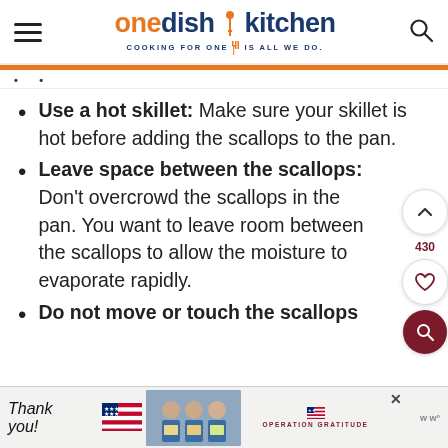one dish kitchen – COOKING FOR ONE IS ALL WE DO.
Use a hot skillet: Make sure your skillet is hot before adding the scallops to the pan.
Leave space between the scallops: Don't overcrowd the scallops in the pan. You want to leave room between the scallops to allow the moisture to evaporate rapidly.
Do not move or touch the scallops
[Figure (photo): Advertisement banner for Operation Gratitude featuring a thank you note with American flag imagery and healthcare workers holding cards]